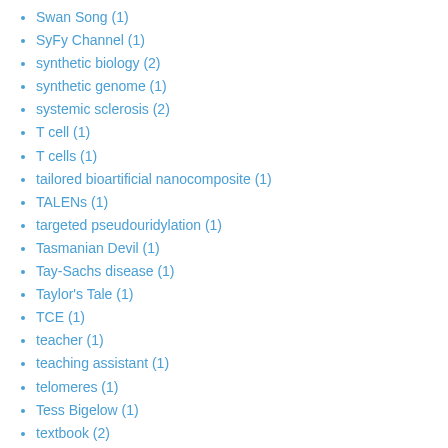Swan Song (1)
SyFy Channel (1)
synthetic biology (2)
synthetic genome (1)
systemic sclerosis (2)
T cell (1)
T cells (1)
tailored bioartificial nanocomposite (1)
TALENs (1)
targeted pseudouridylation (1)
Tasmanian Devil (1)
Tay-Sachs disease (1)
Taylor's Tale (1)
TCE (1)
teacher (1)
teaching assistant (1)
telomeres (1)
Tess Bigelow (1)
textbook (2)
textbooks (1)
texting (1)
The Brief History of the Dead (1)
The Cancer Genome Atlas (1)
The Children of Men (1)
The Forever Fix (2)
The Forever Fix: Gene Therapy and the Boy Who Saved It (11)